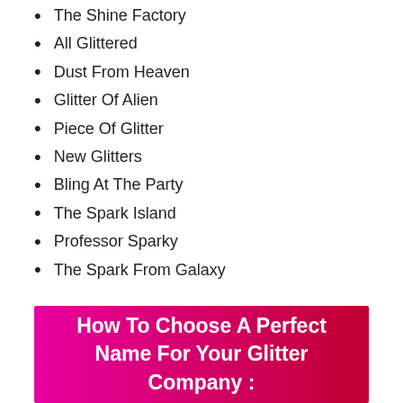The Shine Factory
All Glittered
Dust From Heaven
Glitter Of Alien
Piece Of Glitter
New Glitters
Bling At The Party
The Spark Island
Professor Sparky
The Spark From Galaxy
How To Choose A Perfect Name For Your Glitter Company :